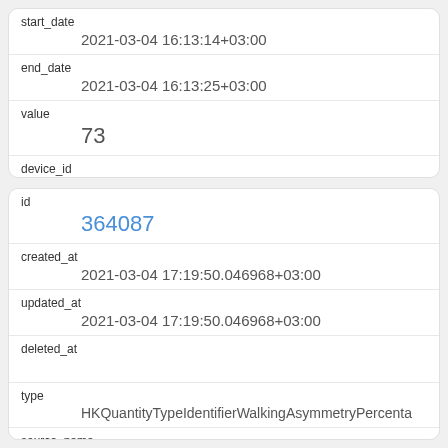| start_date | 2021-03-04 16:13:14+03:00 |
| end_date | 2021-03-04 16:13:25+03:00 |
| value | 73 |
| device_id | iPhone 26 |
| id | 364087 |
| created_at | 2021-03-04 17:19:50.046968+03:00 |
| updated_at | 2021-03-04 17:19:50.046968+03:00 |
| deleted_at |  |
| type | HKQuantityTypeIdentifierWalkingAsymmetryPercenta |
| source_name |  |